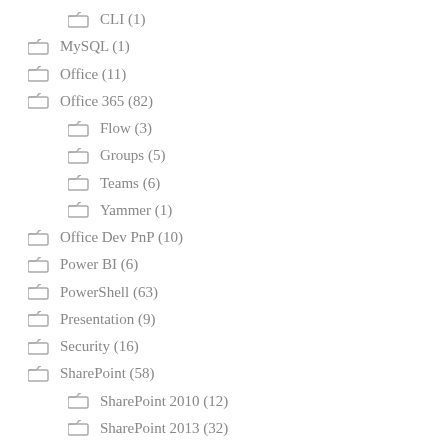CLI (1)
MySQL (1)
Office (11)
Office 365 (82)
Flow (3)
Groups (5)
Teams (6)
Yammer (1)
Office Dev PnP (10)
Power BI (6)
PowerShell (63)
Presentation (9)
Security (16)
SharePoint (58)
SharePoint 2010 (12)
SharePoint 2013 (32)